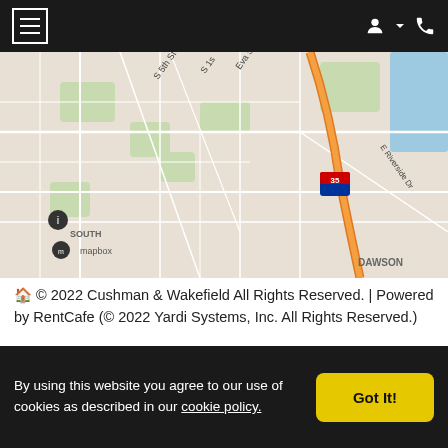Navigation bar with hamburger menu and icons
[Figure (map): Street map showing Travis Heights, South Congress, Dawson, and South neighborhoods in Austin TX, with highway 35 and E Riverside Dr visible. Mapbox attribution shown.]
© 2022 Cushman & Wakefield All Rights Reserved. | Powered by RentCafe (© 2022 Yardi Systems, Inc. All Rights Reserved.)
By using this website you agree to our use of cookies as described in our cookie policy.